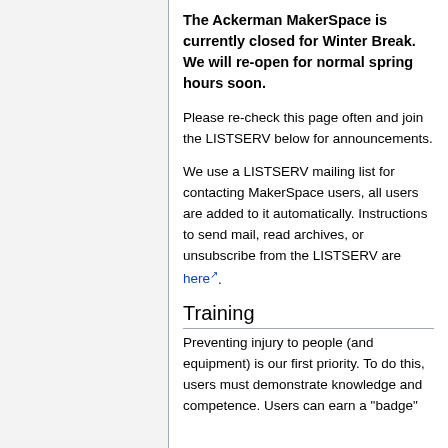The Ackerman MakerSpace is currently closed for Winter Break. We will re-open for normal spring hours soon.
Please re-check this page often and join the LISTSERV below for announcements.
We use a LISTSERV mailing list for contacting MakerSpace users, all users are added to it automatically. Instructions to send mail, read archives, or unsubscribe from the LISTSERV are here.
Training
Preventing injury to people (and equipment) is our first priority. To do this, users must demonstrate knowledge and competence. Users can earn a "badge"